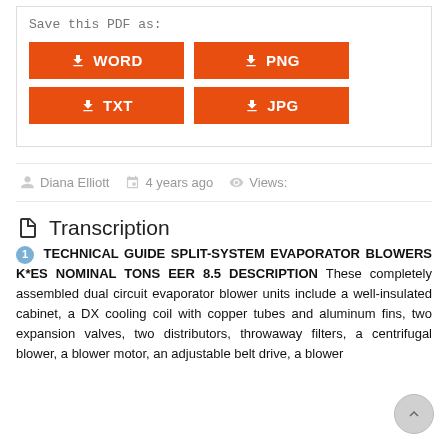[Figure (screenshot): UI panel showing 'Save this PDF as:' with four orange download buttons: WORD, PNG, TXT, JPG]
Diana Elliott   4 years ago   Views:
Transcription
1 TECHNICAL GUIDE SPLIT-SYSTEM EVAPORATOR BLOWERS K*ES NOMINAL TONS EER 8.5 DESCRIPTION These completely assembled dual circuit evaporator blower units include a well-insulated cabinet, a DX cooling coil with copper tubes and aluminum fins, two expansion valves, two distributors, throwaway filters, a centrifugal blower, a blower motor, an adjustable belt drive, a blower